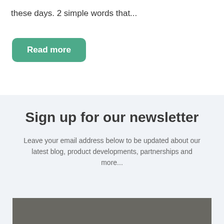these days. 2 simple words that...
Read more
Sign up for our newsletter
Leave your email address below to be updated about our latest blog, product developments, partnerships and more...